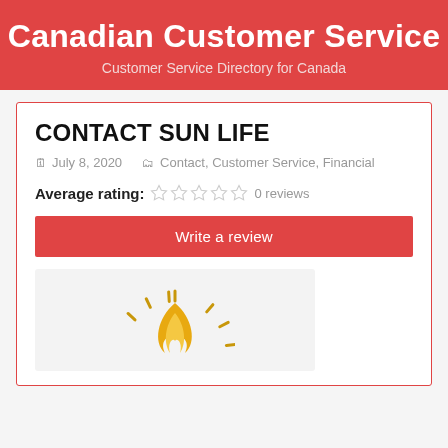Canadian Customer Service
Customer Service Directory for Canada
CONTACT SUN LIFE
July 8, 2020   Contact, Customer Service, Financial
Average rating: 0 reviews
Write a review
[Figure (logo): Sun Life logo with golden sun/flame design on light gray background]